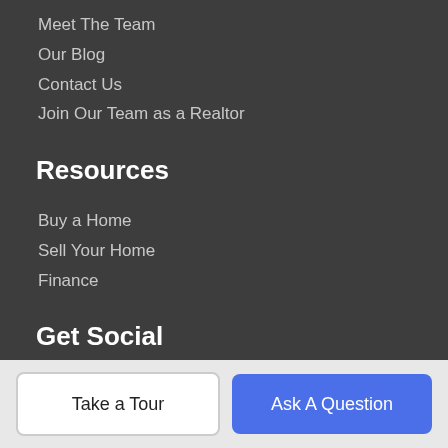Meet The Team
Our Blog
Contact Us
Join Our Team as a Realtor
Resources
Buy a Home
Sell Your Home
Finance
Get Social
[Figure (illustration): Three social media icons: Facebook (blue circle with f), Instagram (pink/magenta circle with camera), Twitter (light blue circle with bird)]
About Us
Young Real Estate is Central Florida's most innovative real estate
Take a Tour
Ask A Question